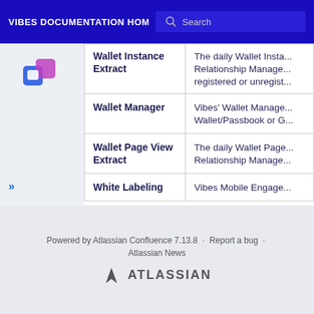VIBES DOCUMENTATION HOME  Search
| Term | Description |
| --- | --- |
| Wallet Instance Extract | The daily Wallet Instance Relationship Manager registered or unregist... |
| Wallet Manager | Vibes' Wallet Manager Wallet/Passbook or G... |
| Wallet Page View Extract | The daily Wallet Page Relationship Manager... |
| White Labeling | Vibes Mobile Engage... |
Powered by Atlassian Confluence 7.13.8 · Report a bug · Atlassian News